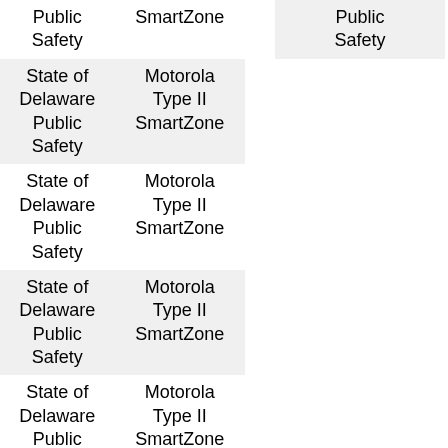| Customer | System Type |
| --- | --- |
| State of Delaware Public Safety | Motorola Type II SmartZone |
| State of Delaware Public Safety | Motorola Type II SmartZone |
| State of Delaware Public Safety | Motorola Type II SmartZone |
| State of Delaware Public Safety | Motorola Type II SmartZone |
| Customer |
| --- |
| Public Safety |